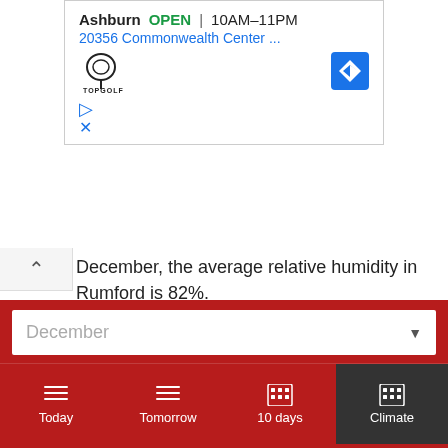[Figure (screenshot): Advertisement banner for Topgolf Ashburn showing business name, OPEN status, hours 10AM-11PM, address 20356 Commonwealth Center, Topgolf logo, navigation/direction icon, play and close buttons]
December, the average relative humidity in Rumford is 82%.
Rainfall
In Rumford, it is raining for 9.5 days, with typically 2.52" (64mm) of accumulated precipitation. Throughout the year, in Rumford, there are 146.3 rainfall days, and 28.31" (719mm) of precipitation is accumulated.
December
Today | Tomorrow | 10 days | Climate